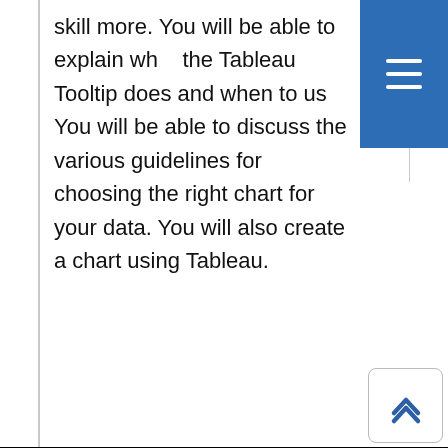skill more. You will be able to explain what the Tableau Tooltip does and when to use it. You will be able to discuss the various guidelines for choosing the right chart for your data. You will also create a chart using Tableau.
This website uses cookies to help us provide you a better experience. By clicking any link on this page you are giving your consent for us to set cookies. Learn more
Got it!
c of
direct within Tableau. You will be able to